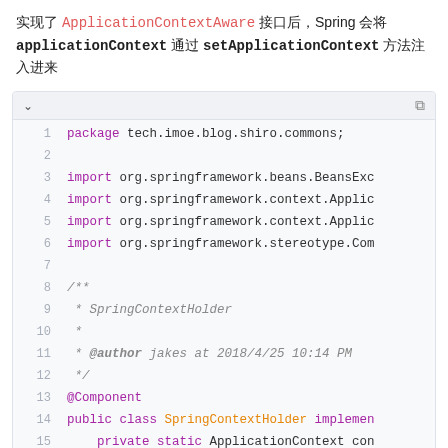实现了ApplicationContextAware接口后，Spring会将applicationContext通过setApplicationContext方法注入进来
[Figure (screenshot): Code editor screenshot showing Java source file with package declaration, imports, Javadoc comment, @Component annotation, and beginning of SpringContextHolder class definition implementing ApplicationContextAware, lines 1-16]